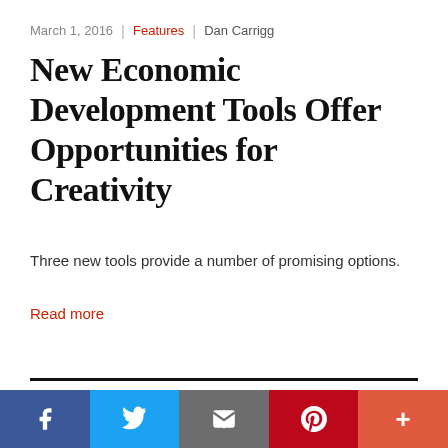March 1, 2016 | Features | Dan Carrigg
New Economic Development Tools Offer Opportunities for Creativity
Three new tools provide a number of promising options.
Read more
This item appears in
ECONOMIC DEVELOPMENT
ENVIRONMENT AND ENERGY